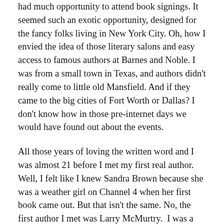had much opportunity to attend book signings. It seemed such an exotic opportunity, designed for the fancy folks living in New York City. Oh, how I envied the idea of those literary salons and easy access to famous authors at Barnes and Noble. I was from a small town in Texas, and authors didn't really come to little old Mansfield. And if they came to the big cities of Fort Worth or Dallas? I don't know how in those pre-internet days we would have found out about the events.
All those years of loving the written word and I was almost 21 before I met my first real author. Well, I felt like I knew Sandra Brown because she was a weather girl on Channel 4 when her first book came out. But that isn't the same. No, the first author I met was Larry McMurtry.  I was a junior in college and he was to be a guest lecturer. I took a literature class composed entirely of his works.
He was quieter in person than he seemed on the